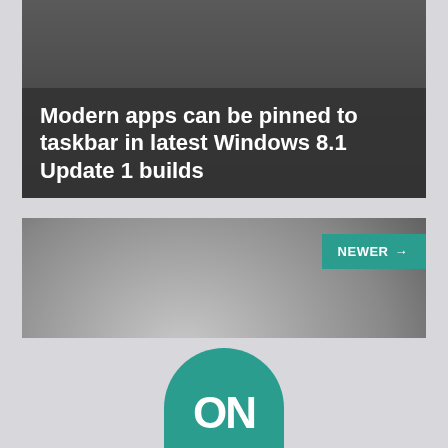Modern apps can be pinned to taskbar in latest Windows 8.1 Update 1 builds
[Figure (screenshot): Gray gradient card with NEWER→ button in teal top-right]
Ancient Rome 2 for Windows 8.1 lets you buid your own village and complete missions
[Figure (logo): Teal semicircle logo with ON text at bottom of page]